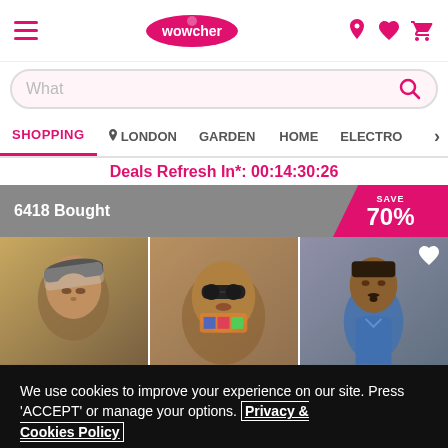Wowcher navigation header with hamburger menu, logo, and icons (location, heart, cart)
What
SHOPPING  LONDON  GARDEN  HOME  ELECTRO
Deals Refresh In*: 00:14:30:26
6418 Bought
SAVE 70%
[Figure (photo): Three rapper figurines/bobbleheads - Tupac (left), Notorious B.I.G. (center), Snoop Dogg (right)]
We use cookies to improve your experience on our site. Press 'ACCEPT' or manage your options. Privacy & Cookies Policy
Options
ACCEPT